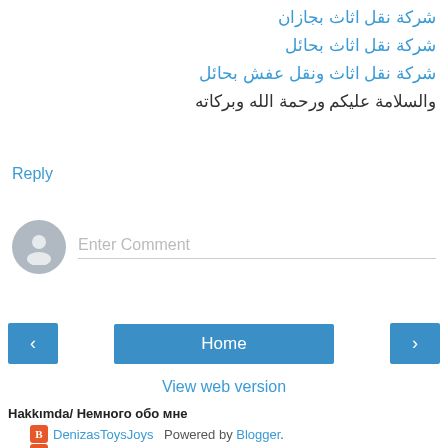شركة نقل اثاث بجازان
شركة نقل اثاث بحائل
شركة نقل اثاث ونقل عفش بحائل
والسلامة عليكم ورحمة الله وبركاته
Reply
Enter Comment
Home
View web version
Hakkımda/ Немного обо мне
DenizasToysJoys
dsmousebears
Powered by Blogger.